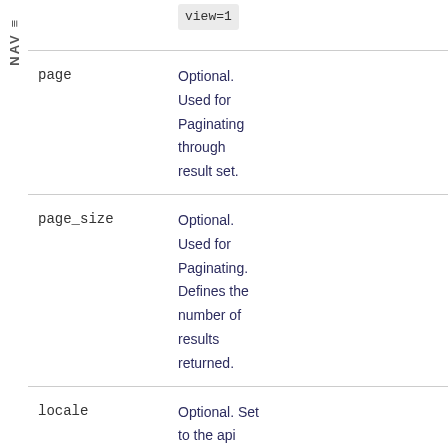NAV ≡
| Parameter | Description |
| --- | --- |
|  | view=1 |
| page | Optional. Used for Paginating through result set. |
| page_size | Optional. Used for Paginating. Defines the number of results returned. |
| locale | Optional. Set to the api |